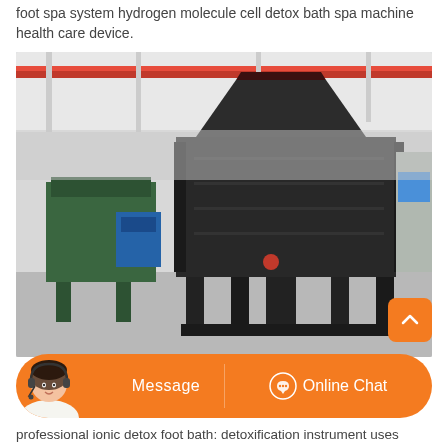foot spa system hydrogen molecule cell detox bath spa machine health care device.
[Figure (photo): Industrial machine photo showing a large dark metal shredder or crusher machine in a factory/warehouse setting. A smaller green machine is visible on the left background. Red overhead crane rail visible at top.]
[Figure (other): Orange chat bar with a customer service representative avatar on left, 'Message' button in center-left, and 'Online Chat' button with headset icon on right.]
professional ionic detox foot bath: detoxification instrument uses